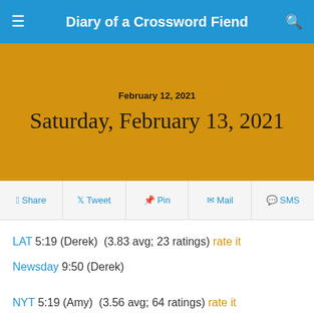Diary of a Crossword Fiend
Saturday, February 13, 2021
February 12, 2021
Share  Tweet  Pin  Mail  SMS
LAT 5:19 (Derek)  (3.83 avg; 23 ratings) rate it
Newsday 9:50 (Derek)
NYT 5:19 (Amy)  (3.56 avg; 64 ratings) rate it
Universal 3:35 (Jim Q) ★★☆ (2.83 avg; 6 ratings) rate it